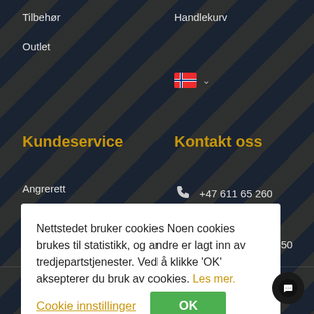Tilbehør
Outlet
Handlekurv
[Figure (illustration): Norwegian flag icon with dropdown chevron]
Kundeservice
Kontakt oss
Angrerett
Reklamasjon
Personvern
Kjøp- og salgsbetingelser
+47 611 65 260
sport@idt.no
Lenagata 131, 2850 Lena
Nettstedet bruker cookies Noen cookies brukes til statistikk, og andre er lagt inn av tredjepartstjenester. Ved å klikke 'OK' aksepterer du bruk av cookies. Les mer.
Cookie innstillinger
OK
AS